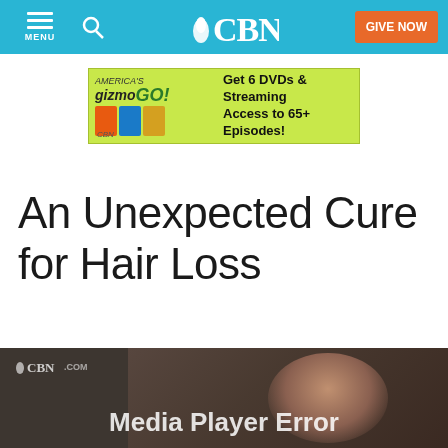CBN - MENU, Search, GIVE NOW
[Figure (screenshot): GizmoGO! advertisement banner: Get 6 DVDs & Streaming Access to 65+ Episodes!]
An Unexpected Cure for Hair Loss
[Figure (screenshot): CBN.com video player showing a woman, with Media Player Error text overlay]